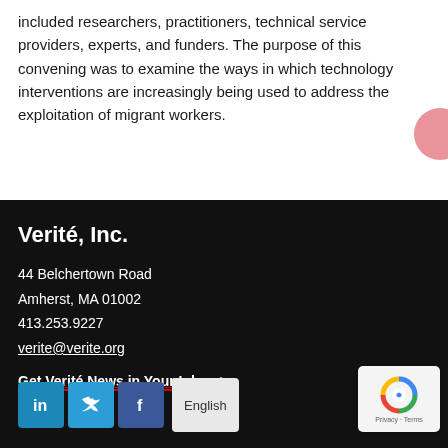included researchers, practitioners, technical service providers, experts, and funders. The purpose of this convening was to examine the ways in which technology interventions are increasingly being used to address the exploitation of migrant workers.
Verité, Inc.
44 Belchertown Road
Amherst, MA 01002
413.253.9227
verite@verite.org
Get Verité News in Your Inbox >
[Figure (other): Social media icons: LinkedIn, Twitter, Facebook; Language selector showing 'English'; reCAPTCHA widget with logo and Privacy/Terms links]